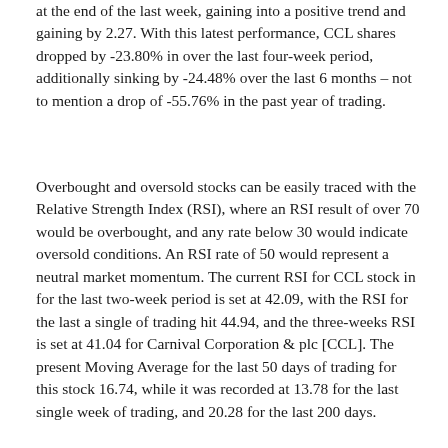at the end of the last week, gaining into a positive trend and gaining by 2.27. With this latest performance, CCL shares dropped by -23.80% in over the last four-week period, additionally sinking by -24.48% over the last 6 months – not to mention a drop of -55.76% in the past year of trading.
Overbought and oversold stocks can be easily traced with the Relative Strength Index (RSI), where an RSI result of over 70 would be overbought, and any rate below 30 would indicate oversold conditions. An RSI rate of 50 would represent a neutral market momentum. The current RSI for CCL stock in for the last two-week period is set at 42.09, with the RSI for the last a single of trading hit 44.94, and the three-weeks RSI is set at 41.04 for Carnival Corporation & plc [CCL]. The present Moving Average for the last 50 days of trading for this stock 16.74, while it was recorded at 13.78 for the last single week of trading, and 20.28 for the last 200 days.